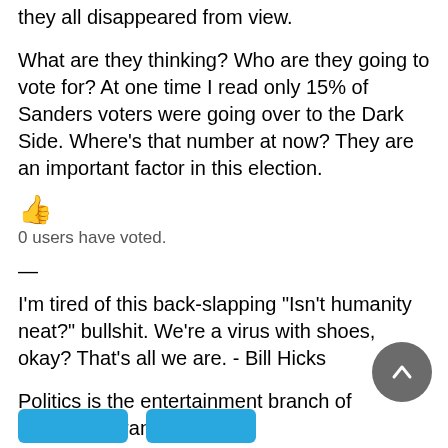they all disappeared from view.
What are they thinking? Who are they going to vote for? At one time I read only 15% of Sanders voters were going over to the Dark Side. Where's that number at now? They are an important factor in this election.
👍
0 users have voted.
—
I'm tired of this back-slapping "Isn't humanity neat?" bullshit. We're a virus with shoes, okay? That's all we are. - Bill Hicks
Politics is the entertainment branch of industry. - Frank Zappa